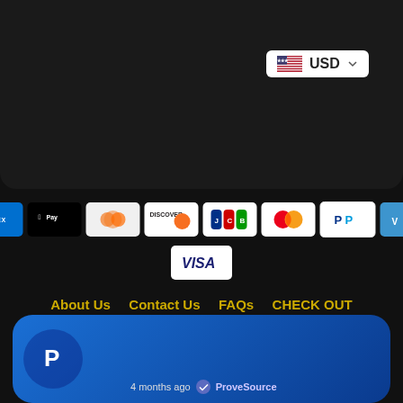[Figure (screenshot): Currency selector showing USD with dropdown arrow and US flag]
[Figure (infographic): Payment method icons: American Express, Apple Pay, Diners Club, Discover, JCB, Mastercard, PayPal, Venmo, Visa]
About Us    Contact Us    FAQs    CHECK OUT
Privacy Policy    Return Policy    Shipping Info
Terms of Use for the Website    Wish List
Copyright © 2022 Shop Avenue Store | Men Women Collections -
[Figure (screenshot): ProveSource notification bar with PayPal logo and '4 months ago' timestamp]